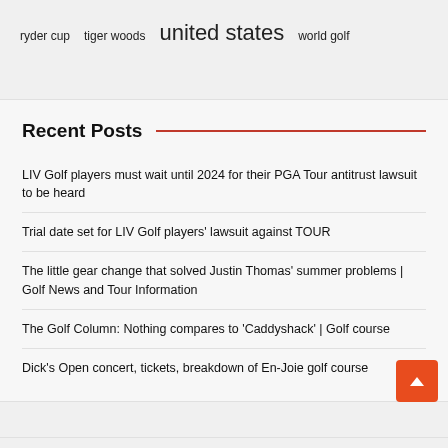ryder cup   tiger woods   united states   world golf
Recent Posts
LIV Golf players must wait until 2024 for their PGA Tour antitrust lawsuit to be heard
Trial date set for LIV Golf players' lawsuit against TOUR
The little gear change that solved Justin Thomas' summer problems | Golf News and Tour Information
The Golf Column: Nothing compares to 'Caddyshack' | Golf course
Dick's Open concert, tickets, breakdown of En-Joie golf course